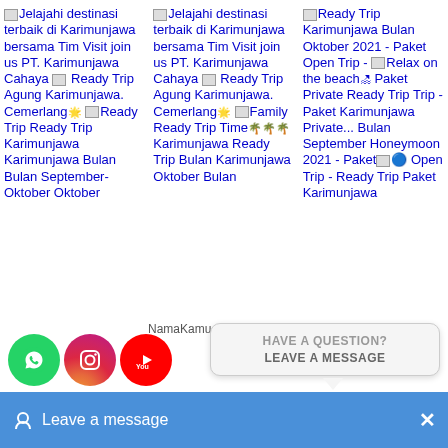[Figure (screenshot): Website screenshot showing a 3-column grid of travel content cards for Karimunjawa destinations, including broken image placeholders and Indonesian travel package text, overlaid with a chat widget at the bottom.]
Jelajahi destinasi terbaik di Karimunjawa bersama Tim Visit join us PT. Karimunjawa Cahaya Ready Trip Agung Karimunjawa. Cemerlang
Jelajahi destinasi terbaik di Karimunjawa bersama Tim Visit join us PT. Karimunjawa Cahaya Ready Trip Agung Karimunjawa. Cemerlang
Ready Trip Karimunjawa Bulan Oktober 2021 - Paket Open Trip - Relax on the beach Paket Private Ready Trip Trip - Paket Karimunjawa Private... Bulan September Honeymoon 2021 - Paket Open Trip - Ready Trip Paket Karimunjawa
Ready Trip Karimunjawa Bulan September- Oktober Oktober
Family Ready Trip Time Karimunjawa Ready Trip Bulan Karimunjawa Oktober Bulan
NamaKamu
HAVE A QUESTION? LEAVE A MESSAGE
Leave a message